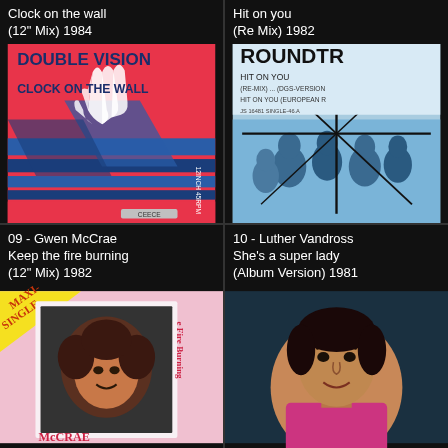Clock on the wall
(12" Mix) 1984
[Figure (photo): Double Vision - Clock on the Wall album cover, pink/red background with blue geometric shapes and white hand illustration, 12 INCH 45 RPM]
Hit on you
(Re Mix) 1982
[Figure (photo): Roundtrip - Hit on You album cover, blue toned cover with group of people and clock overlay]
09 - Gwen McCrae
Keep the fire burning
(12" Mix) 1982
[Figure (photo): Gwen McCrae - Keep the Fire Burning maxi single cover, pink background with portrait photo]
10 - Luther Vandross
She's a super lady
(Album Version) 1981
[Figure (photo): Luther Vandross portrait photo, man in pink/magenta jacket against dark background]